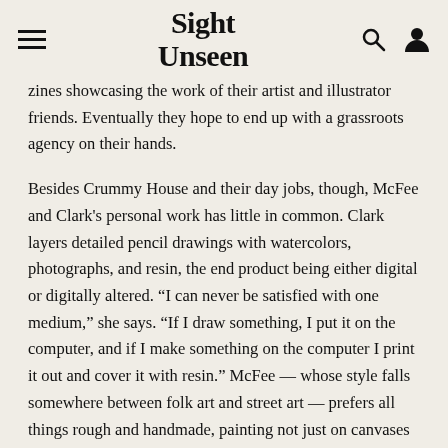Sight Unseen
zines showcasing the work of their artist and illustrator friends. Eventually they hope to end up with a grassroots agency on their hands.
Besides Crummy House and their day jobs, though, McFee and Clark's personal work has little in common. Clark layers detailed pencil drawings with watercolors, photographs, and resin, the end product being either digital or digitally altered. “I can never be satisfied with one medium,” she says. “If I draw something, I put it on the computer, and if I make something on the computer I print it out and cover it with resin.” McFee — whose style falls somewhere between folk art and street art — prefers all things rough and handmade, painting not just on canvases but on chunks of driftwood, bottles, stones, and other found objects. He grew up doodling incessantly and emulating illustrators like Shel Silverstein, Richard Scarrey, and Where’s Waldo creator Martin Hanford, eventually moving on to appreciate